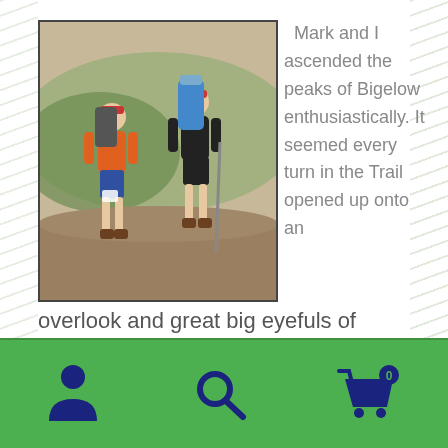[Figure (photo): Two male hikers with large backpacks standing on a rocky mountain summit with forested valley in the background. The hiker on the left wears an orange shirt and blue shorts; the one on the right wears black clothing and holds a hiking pole.]
Mark and I ascended the peaks of Bigelow enthusiastically. It seemed every turn in the Trail opened up onto an overlook and great big eyefuls of brilliant autumn color. The surrounding terrain was splotched
[Figure (infographic): Green navigation bar at bottom with three icons: a person/user icon on the left, a search/magnifying glass icon in the center, and a shopping cart with badge showing 0 on the right.]